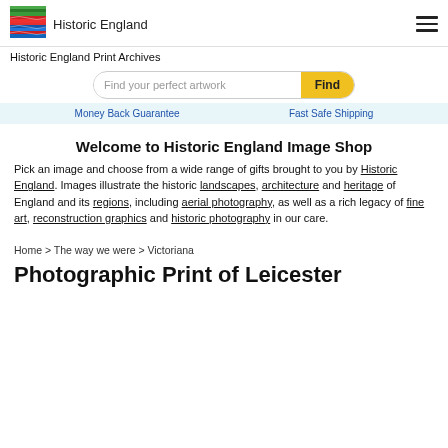Historic England
Historic England Print Archives
[Figure (other): Search bar with placeholder text 'Find your perfect artwork' and a yellow 'Find' button]
Money Back Guarantee    Fast Safe Shipping
Welcome to Historic England Image Shop
Pick an image and choose from a wide range of gifts brought to you by Historic England. Images illustrate the historic landscapes, architecture and heritage of England and its regions, including aerial photography, as well as a rich legacy of fine art, reconstruction graphics and historic photography in our care.
Home > The way we were > Victoriana
Photographic Print of Leicester